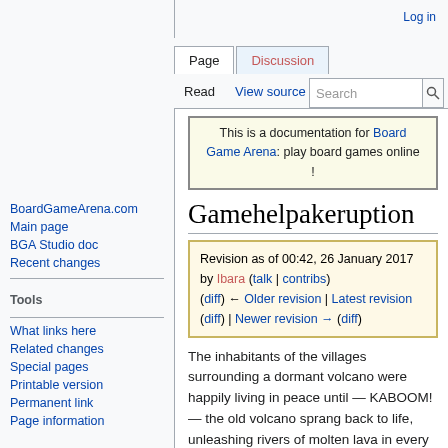Log in
Page | Discussion | Read | View source | View history | Search
This is a documentation for Board Game Arena: play board games online !
Gamehelpakeruption
Revision as of 00:42, 26 January 2017 by Ibara (talk | contribs)
(diff) ← Older revision | Latest revision (diff) | Newer revision → (diff)
BoardGameArena.com
Main page
BGA Studio doc
Recent changes
What links here
Related changes
Special pages
Printable version
Permanent link
Page information
The inhabitants of the villages surrounding a dormant volcano were happily living in peace until — KABOOM! — the old volcano sprang back to life, unleashing rivers of molten lava in every